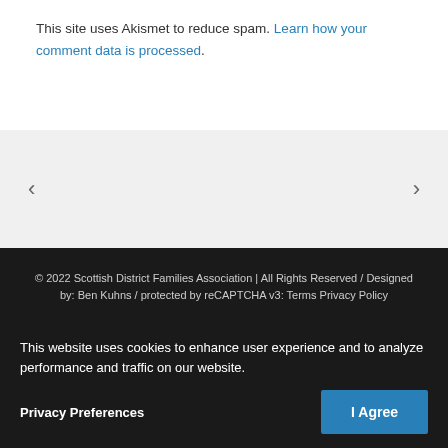This site uses Akismet to reduce spam. Learn how your comment data is processed.
< >
© 2022 Scottish District Families Association | All Rights Reserved / Designed by: Ben Kuhns / protected by reCAPTCHA v3: Terms Privacy Policy
This website uses cookies to enhance user experience and to analyze performance and traffic on our website.
Privacy Preferences
I Agree